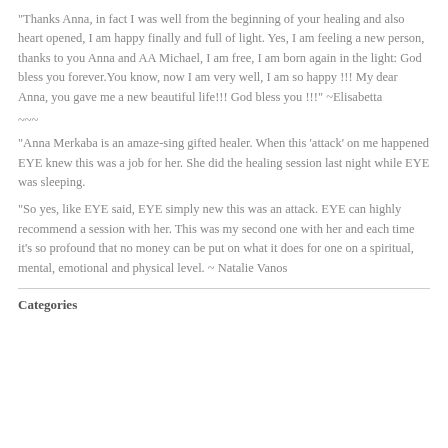“Thanks Anna, in fact I was well from the beginning of your healing and also heart opened, I am happy finally and full of light. Yes, I am feeling a new person, thanks to you Anna and AA Michael, I am free, I am born again in the light: God bless you forever.You know, now I am very well, I am so happy !!! My dear Anna, you gave me a new beautiful life!!! God bless you !!!" ~Elisabetta
~~~
"Anna Merkaba is an amaze-sing gifted healer. When this ‘attack’ on me happened EYE knew this was a job for her. She did the healing session last night while EYE was sleeping.
"So yes, like EYE said, EYE simply new this was an attack. EYE can highly recommend a session with her. This was my second one with her and each time it’s so profound that no money can be put on what it does for one on a spiritual, mental, emotional and physical level. ~ Natalie Vanos
Categories